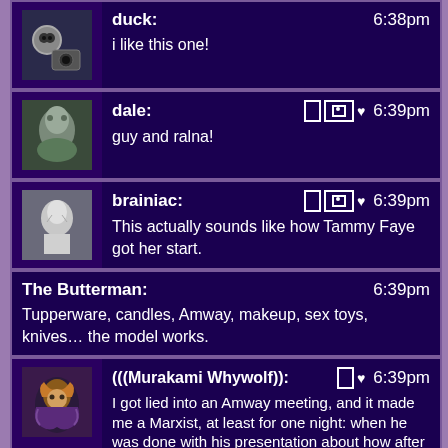duck: 6:38pm
i like this one!
dale: 6:39pm
guy and ralna!
brainiac: 6:39pm
This actually sounds like how Tammy Faye got her start.
The Butterman: 6:39pm
Tupperware, candles, Amway, makeup, sex toys, knives… the model works.
(((Murakami Whywolf)): 6:39pm
I got lied into an Amway meeting, and it made me a Marxist, at least for one night: when he was done with his presentation about how after awhile you wouldn't even have to sell anything, I asked the speaker 'Shouldn't you be ashamed of doing nothing while all these other people do all the work and you get most of the money?' for which he just said something like 'That's how it works.' as if I just hadn't understood it.